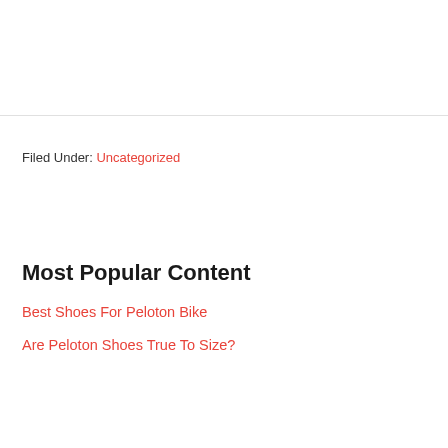Filed Under: Uncategorized
Most Popular Content
Best Shoes For Peloton Bike
Are Peloton Shoes True To Size?